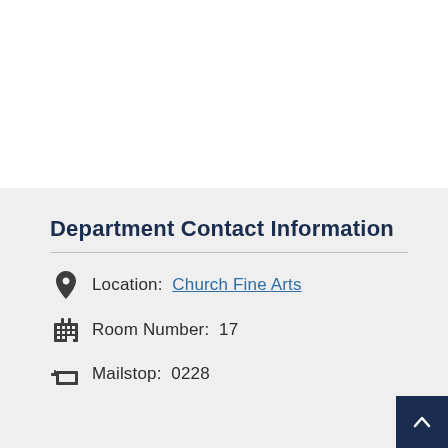Department Contact Information
Location: Church Fine Arts
Room Number: 17
Mailstop: 0228